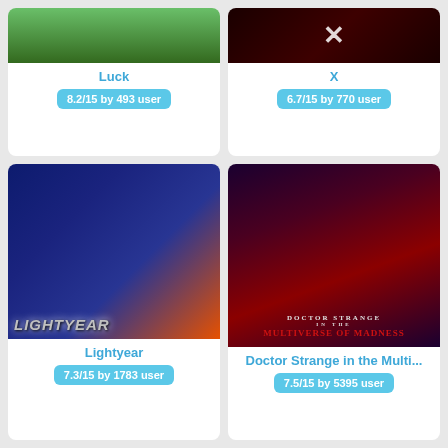[Figure (photo): Partial movie poster for Luck - green animated scene visible at top]
Luck
8.2/15 by 493 user
[Figure (photo): Partial movie poster for X - dark red background with white X letter]
X
6.7/15 by 770 user
[Figure (photo): Movie poster for Lightyear - animated space ranger with blue/orange tones and LIGHTYEAR text]
Lightyear
7.3/15 by 1783 user
[Figure (photo): Movie poster for Doctor Strange in the Multiverse of Madness - dark red tones with characters]
Doctor Strange in the Multi...
7.5/15 by 5395 user